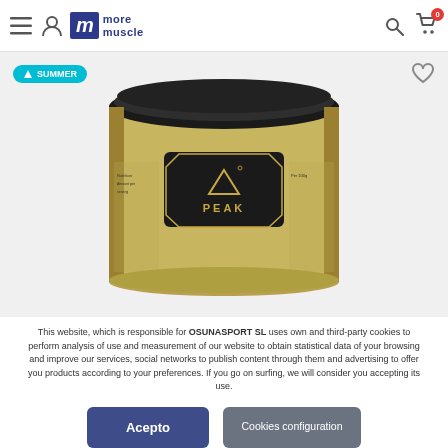more muscle – navigation header with hamburger menu, user icon, logo, search and cart icons
[Figure (photo): PEAK brand supplement container (gold/black tub) with a SUMMER badge and heart/wishlist icon overlay on a light grey background]
This website, which is responsible for OSUNASPORT SL uses own and third-party cookies to perform analysis of use and measurement of our website to obtain statistical data of your browsing and improve our services, social networks to publish content through them and advertising to offer you products according to your preferences. If you go on surfing, we will consider you accepting its use.
Acepto
Cookies configuration